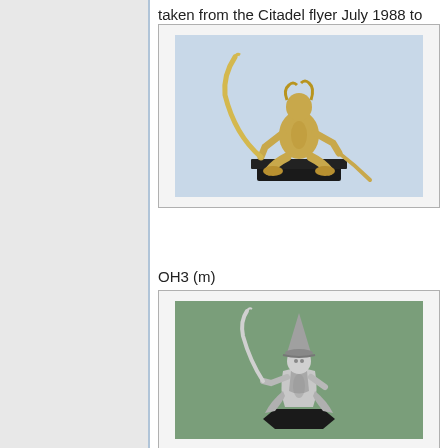taken from the Citadel flyer July 1988 to differentiate easier.
[Figure (photo): Gold-coloured miniature figurine of a warrior/rogue in a crouching action pose holding a large curved sword, mounted on a black square base. Light blue background.]
OH3 (m)
[Figure (photo): Silver metallic miniature figurine of a robed figure wearing a pointed hat and holding a curved sword, mounted on a black hexagonal base. Green background.]